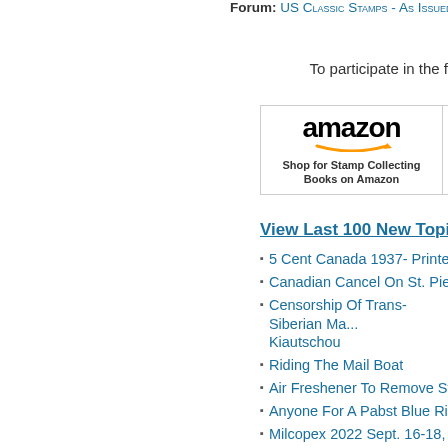Forum: US Classic Stamps - As Issued and U...
To participate in the f...
[Figure (logo): Amazon banner - Shop for Stamp Collecting Books on Amazon]
[Figure (logo): United States Postal Service logo banner]
View Last 100 New Topics
5 Cent Canada 1937- Printed On...
Canadian Cancel On St. Pierre &...
Censorship Of Trans-Siberian Ma... Kiautschou
Riding The Mail Boat
Air Freshener To Remove Stamps...
Anyone For A Pabst Blue Ribbon?...
Milcopex 2022 Sept. 16-18, 2022... Center, Brookfield, WI 53005